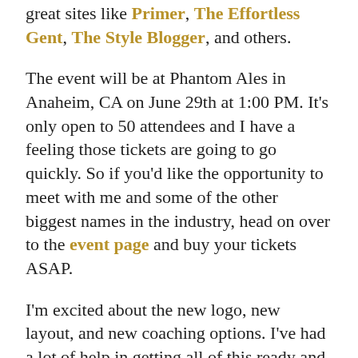great sites like Primer, The Effortless Gent, The Style Blogger, and others.
The event will be at Phantom Ales in Anaheim, CA on June 29th at 1:00 PM. It's only open to 50 attendees and I have a feeling those tickets are going to go quickly. So if you'd like the opportunity to meet with me and some of the other biggest names in the industry, head on over to the event page and buy your tickets ASAP.
I'm excited about the new logo, new layout, and new coaching options. I've had a lot of help in getting all of this ready and want to give a shootout to Matt of Unlucky Devil for the artwork and Remy of Big Wolf Designs for all of the coding and site design. Obviously an entirely new site will have a few wrinkles to iron out, so if you happen to stumble on any glitches, feel free to let me know in the comments.